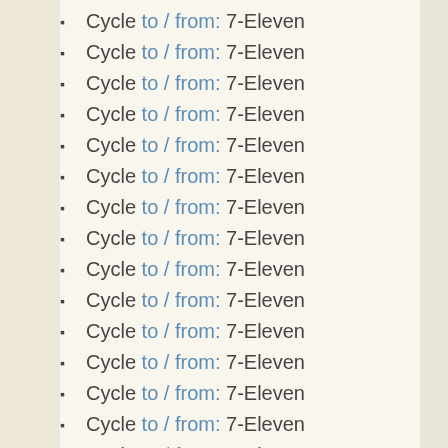Cycle to / from: 7-Eleven
Cycle to / from: 7-Eleven
Cycle to / from: 7-Eleven
Cycle to / from: 7-Eleven
Cycle to / from: 7-Eleven
Cycle to / from: 7-Eleven
Cycle to / from: 7-Eleven
Cycle to / from: 7-Eleven
Cycle to / from: 7-Eleven
Cycle to / from: 7-Eleven
Cycle to / from: 7-Eleven
Cycle to / from: 7-Eleven
Cycle to / from: 7-Eleven
Cycle to / from: 7-Eleven
Cycle to / from: 7-Eleven
Cycle to / from: 7-Eleven
Cycle to / from: 7-Eleven
Cycle to / from: 7-Eleven
Cycle to / from: 7-Eleven
Cycle to / from: 7-Eleven